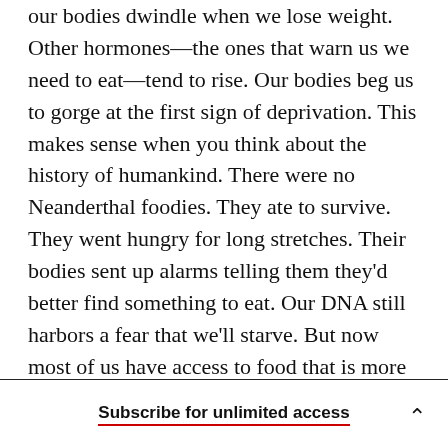our bodies dwindle when we lose weight. Other hormones—the ones that warn us we need to eat—tend to rise. Our bodies beg us to gorge at the first sign of deprivation. This makes sense when you think about the history of humankind. There were no Neanderthal foodies. They ate to survive. They went hungry for long stretches. Their bodies sent up alarms telling them they'd better find something to eat. Our DNA still harbors a fear that we'll starve. But now most of us have access to food that is more abundant, cheaper, and more addictive than at any other time in human history. Our
Subscribe for unlimited access